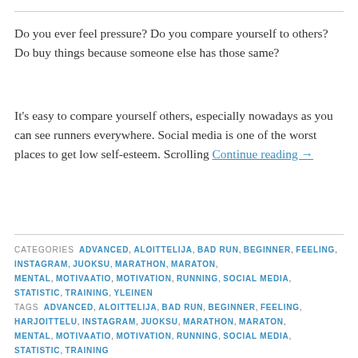Do you ever feel pressure? Do you compare yourself to others? Do buy things because someone else has those same?
It's easy to compare yourself others, especially nowadays as you can see runners everywhere. Social media is one of the worst places to get low self-esteem. Scrolling Continue reading →
CATEGORIES ADVANCED, ALOITTELIJA, BAD RUN, BEGINNER, FEELING, INSTAGRAM, JUOKSU, MARATHON, MARATON, MENTAL, MOTIVAATIO, MOTIVATION, RUNNING, SOCIAL MEDIA, STATISTIC, TRAINING, YLEINEN
TAGS ADVANCED, ALOITTELIJA, BAD RUN, BEGINNER, FEELING, HARJOITTELU, INSTAGRAM, JUOKSU, MARATHON, MARATON, MENTAL, MOTIVAATIO, MOTIVATION, RUNNING, SOCIAL MEDIA, STATISTIC, TRAINING